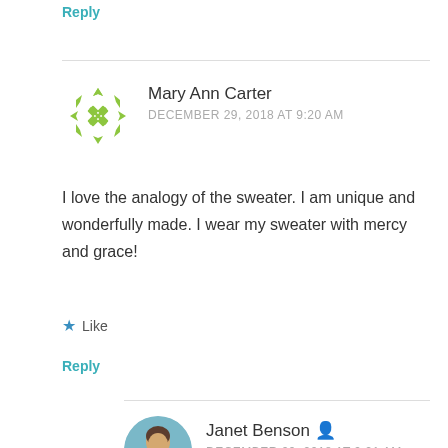Reply
Mary Ann Carter
DECEMBER 29, 2018 AT 9:20 AM
I love the analogy of the sweater. I am unique and wonderfully made. I wear my sweater with mercy and grace!
Like
Reply
Janet Benson
DECEMBER 29, 2018 AT 9:21 AM
Yes you do, Mary Ann. Your life sweater is beautiful!